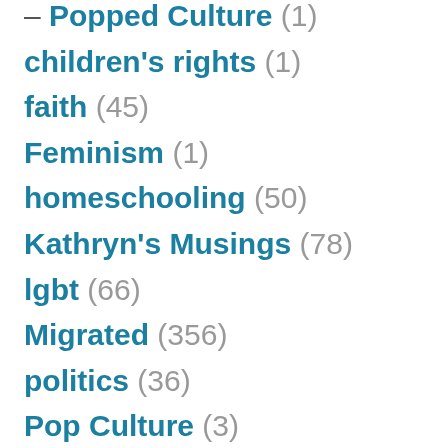– Popped Culture (1)
children's rights (1)
faith (45)
Feminism (1)
homeschooling (50)
Kathryn's Musings (78)
lgbt (66)
Migrated (356)
politics (36)
Pop Culture (3)
Ryn Reads (12)